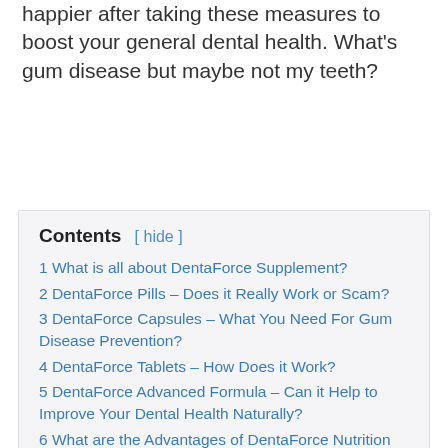happier after taking these measures to boost your general dental health. What's gum disease but maybe not my teeth?
Contents [ hide ]
1 What is all about DentaForce Supplement?
2 DentaForce Pills – Does it Really Work or Scam?
3 DentaForce Capsules – What You Need For Gum Disease Prevention?
4 DentaForce Tablets – How Does it Work?
5 DentaForce Advanced Formula – Can it Help to Improve Your Dental Health Naturally?
6 What are the Advantages of DentaForce Nutrition Formula?